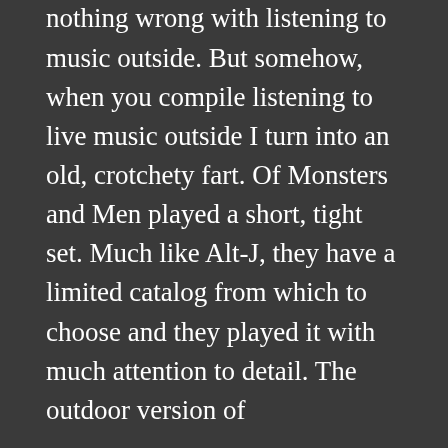So it goes with me and outdoor shows. I like live music (clearly). There’s nothing wrong with being outside. There’s nothing wrong with listening to music outside. But somehow, when you compile listening to live music outside I turn into an old, crotchety fart. Of Monsters and Men played a short, tight set. Much like Alt-J, they have a limited catalog from which to choose and they played it with much attention to detail. The outdoor version of